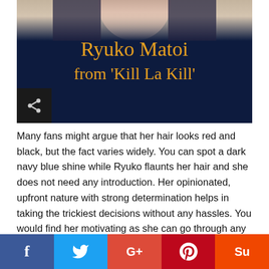[Figure (illustration): Anime-style illustration of Ryuko Matoi from Kill La Kill on dark navy background with title text overlay in orange/gold serif font reading 'Ryuko Matoi from Kill La Kill']
Many fans might argue that her hair looks red and black, but the fact varies widely. You can spot a dark navy blue shine while Ryuko flaunts her hair and she does not need any introduction. Her opinionated, upfront nature with strong determination helps in taking the trickiest decisions without any hassles. You would find her motivating as she can go through any obstacle with a high head and undertake significant risks to solve the thing.
Mikoto Suou from ‘School Rumble’
[Figure (screenshot): Partial next article image visible at bottom of page]
[Figure (infographic): Social share bar with Facebook, Twitter, Google+, Pinterest, StumbleUpon buttons]